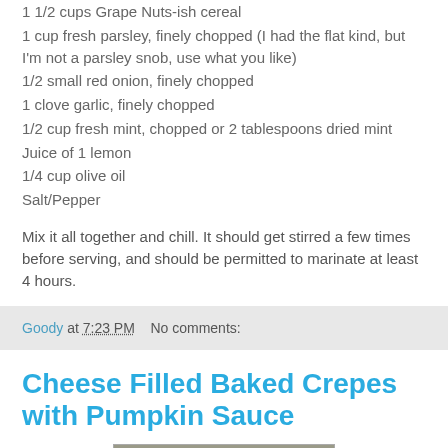1 1/2 cups Grape Nuts-ish cereal
1 cup fresh parsley, finely chopped (I had the flat kind, but I'm not a parsley snob, use what you like)
1/2 small red onion, finely chopped
1 clove garlic, finely chopped
1/2 cup fresh mint, chopped or 2 tablespoons dried mint
Juice of 1 lemon
1/4 cup olive oil
Salt/Pepper
Mix it all together and chill. It should get stirred a few times before serving, and should be permitted to marinate at least 4 hours.
Goody at 7:23 PM   No comments:
Cheese Filled Baked Crepes with Pumpkin Sauce
[Figure (photo): Photo of cheese filled baked crepes with pumpkin sauce, partially visible at bottom of page]